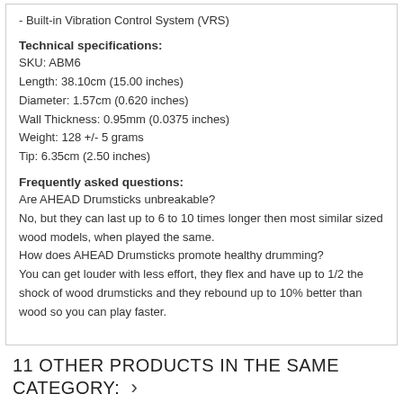- Built-in Vibration Control System (VRS)
Technical specifications:
SKU: ABM6
Length: 38.10cm (15.00 inches)
Diameter: 1.57cm (0.620 inches)
Wall Thickness: 0.95mm (0.0375 inches)
Weight: 128 +/- 5 grams
Tip: 6.35cm (2.50 inches)
Frequently asked questions:
Are AHEAD Drumsticks unbreakable?
No, but they can last up to 6 to 10 times longer then most similar sized wood models, when played the same.
How does AHEAD Drumsticks promote healthy drumming?
You can get louder with less effort, they flex and have up to 1/2 the shock of wood drumsticks and they rebound up to 10% better than wood so you can play faster.
11 OTHER PRODUCTS IN THE SAME CATEGORY: